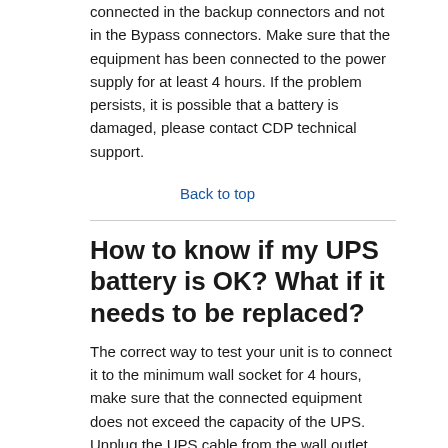connected in the backup connectors and not in the Bypass connectors. Make sure that the equipment has been connected to the power supply for at least 4 hours. If the problem persists, it is possible that a battery is damaged, please contact CDP technical support.
Back to top
How to know if my UPS battery is OK? What if it needs to be replaced?
The correct way to test your unit is to connect it to the minimum wall socket for 4 hours, make sure that the connected equipment does not exceed the capacity of the UPS. Unplug the UPS cable from the wall outlet, the UPS should stay on with the alarm that indicates a loss of supply to the wall.